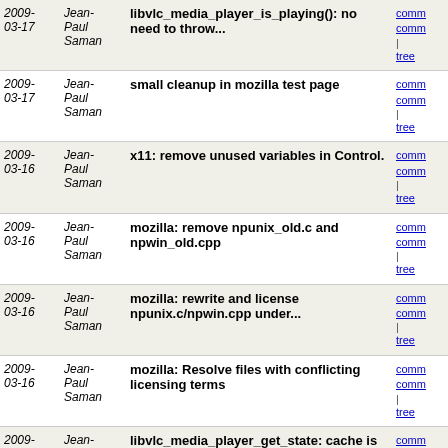| Date | Author | Message | Links |
| --- | --- | --- | --- |
| 2009-03-17 | Jean-Paul Saman | libvlc_media_player_is_playing(): no need to throw... | comm
comm
| tree |
| 2009-03-17 | Jean-Paul Saman | small cleanup in mozilla test page | comm
comm
| tree |
| 2009-03-16 | Jean-Paul Saman | x11: remove unused variables in Control. | comm
comm
| tree |
| 2009-03-16 | Jean-Paul Saman | mozilla: remove npunix_old.c and npwin_old.cpp | comm
comm
| tree |
| 2009-03-16 | Jean-Paul Saman | mozilla: rewrite and license npunix.c/npwin.cpp under... | comm
comm
| tree |
| 2009-03-16 | Jean-Paul Saman | mozilla: Resolve files with conflicting licensing terms | comm
comm
| tree |
| 2009-03-10 | Jean-Paul Saman | libvlc_media_player_get_state: cache is between [0... | comm
comm
| tree |
| 2009-03-10 | Jean-Paul Saman | activex; sync test.html testpage with mozilla one. | comm
comm
| tree |
| 2009-03-10 | Jean-Paul Saman | mozilla: cleanup test.html plugin testing page. | comm
comm
| tree |